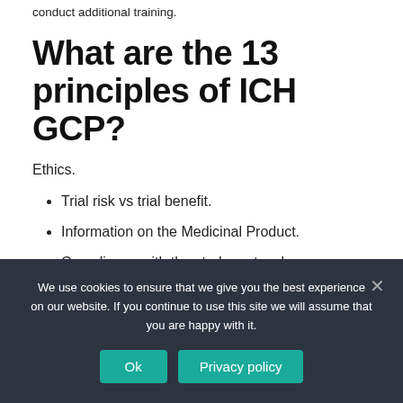conduct additional training.
What are the 13 principles of ICH GCP?
Ethics.
Trial risk vs trial benefit.
Information on the Medicinal Product.
Compliance with the study protocol.
Medical device...
We use cookies to ensure that we give you the best experience on our website. If you continue to use this site we will assume that you are happy with it.